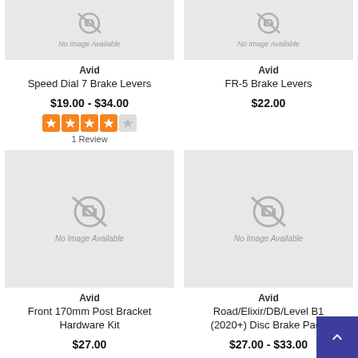[Figure (photo): No Image Available placeholder for Avid Speed Dial 7 Brake Levers]
Avid
Speed Dial 7 Brake Levers
$19.00 - $34.00
[Figure (other): 4 out of 5 stars rating]
1 Review
[Figure (photo): No Image Available placeholder for Avid FR-5 Brake Levers]
Avid
FR-5 Brake Levers
$22.00
[Figure (photo): No Image Available placeholder for Avid Front 170mm Post Bracket Hardware Kit]
Avid
Front 170mm Post Bracket Hardware Kit
$27.00
[Figure (photo): No Image Available placeholder for Avid Road/Elixir/DB/Level B1 (2020+) Disc Brake Pads]
Avid
Road/Elixir/DB/Level B1 (2020+) Disc Brake Pads
$27.00 - $33.00